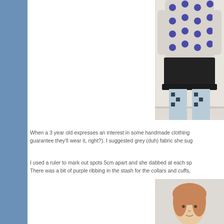[Figure (photo): Child wearing a grey top with purple polka dots, black skirt, and patterned leggings, standing against a white wall. Photo is cropped showing the body from shoulders down.]
When a 3 year old expresses an interest in some handmade clothing guarantee they'll wear it, right?). I suggested grey (duh) fabric she sug
I used a ruler to mark out spots 5cm apart and she dabbed at each sp There was a bit of purple ribbing in the stash for the collars and cuffs,
[Figure (photo): Close-up photo of a young girl with reddish-blonde hair, against a light background.]